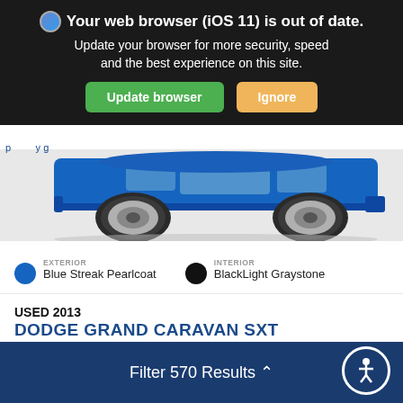Your web browser (iOS 11) is out of date. Update your browser for more security, speed and the best experience on this site.
Update browser | Ignore
[Figure (photo): Side view of a blue minivan (Dodge Grand Caravan) showing wheels and lower body]
EXTERIOR Blue Streak Pearlcoat
INTERIOR BlackLight Graystone
USED 2013 DODGE GRAND CARAVAN SXT Stock # SP0370A
Filter 570 Results